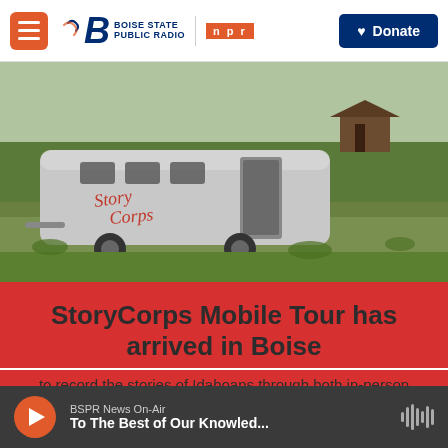Boise State Public Radio | NPR | Donate
[Figure (photo): StoryCorps Airstream trailer parked in a grassy field with sage brush and a barn in the background. The word 'Story Corps' is written in script on the side of the trailer.]
StoryCorps Mobile Tour has arrived in Boise
to record the stories of Idahoans through both in-person and virtual interviews.
BSPR News On-Air | To The Best of Our Knowled...